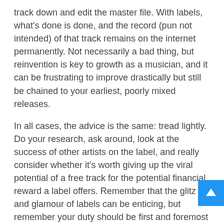track down and edit the master file. With labels, what's done is done, and the record (pun not intended) of that track remains on the internet permanently. Not necessarily a bad thing, but reinvention is key to growth as a musician, and it can be frustrating to improve drastically but still be chained to your earliest, poorly mixed releases.
In all cases, the advice is the same: tread lightly. Do your research, ask around, look at the success of other artists on the label, and really consider whether it's worth giving up the viral potential of a free track for the potential financial reward a label offers. Remember that the glitz and glamour of labels can be enticing, but remember your duty should be first and foremost to make good, enjoyable music.
Experienced sending tracks to a label? What worked for you?  Share below.
Nick Packoff PITT inter...